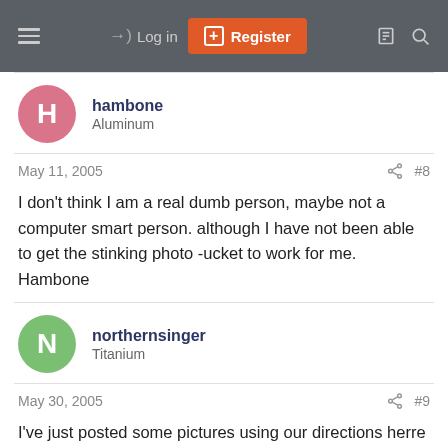Log in | Register
hambone
Aluminum
May 11, 2005	#8
I don't think I am a real dumb person, maybe not a computer smart person. although I have not been able to get the stinking photo -ucket to work for me. Hambone
northernsinger
Titanium
May 30, 2005	#9
I've just posted some pictures using our directions herre and got them onto my post (in the Caseneuve, Weiler, etc